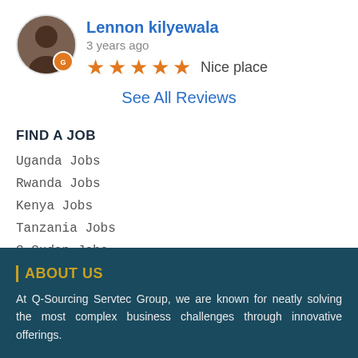Lennon kilyewala
3 years ago
★★★★★ Nice place
See All Reviews
FIND A JOB
Uganda Jobs
Rwanda Jobs
Kenya Jobs
Tanzania Jobs
S.Sudan Jobs
ABOUT US
At Q-Sourcing Servtec Group, we are known for neatly solving the most complex business challenges through innovative offerings.